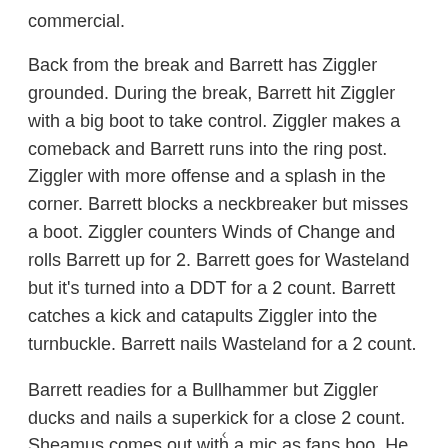commercial.
Back from the break and Barrett has Ziggler grounded. During the break, Barrett hit Ziggler with a big boot to take control. Ziggler makes a comeback and Barrett runs into the ring post. Ziggler with more offense and a splash in the corner. Barrett blocks a neckbreaker but misses a boot. Ziggler counters Winds of Change and rolls Barrett up for 2. Barrett goes for Wasteland but it's turned into a DDT for a 2 count. Barrett catches a kick and catapults Ziggler into the turnbuckle. Barrett nails Wasteland for a 2 count.
Barrett readies for a Bullhammer but Ziggler ducks and nails a superkick for a close 2 count. Sheamus comes out with a mic as fans boo. He speaks from the stage and reminds Ziggler that there was a full Irish moon last night,